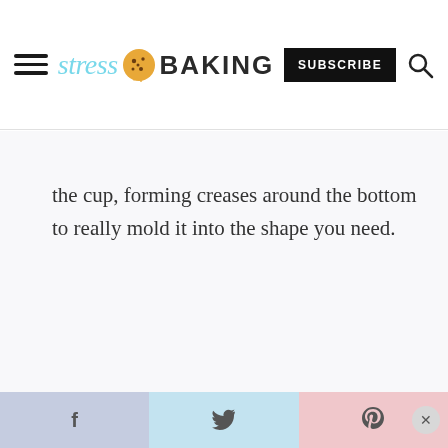stress baking — SUBSCRIBE
the cup, forming creases around the bottom to really mold it into the shape you need.
f  twitter  p  ×